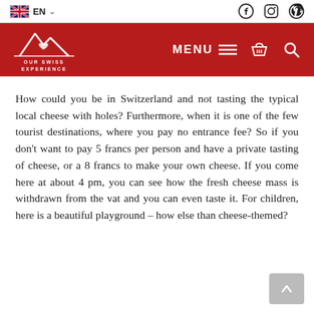EN | Facebook Instagram Pinterest
[Figure (logo): Our Swiss Experience logo — mountain outline in white on red background with text OUR SWISS EXPERIENCE, plus MENU, cart, and search icons]
How could you be in Switzerland and not tasting the typical local cheese with holes? Furthermore, when it is one of the few tourist destinations, where you pay no entrance fee? So if you don't want to pay 5 francs per person and have a private tasting of cheese, or a 8 francs to make your own cheese. If you come here at about 4 pm, you can see how the fresh cheese mass is withdrawn from the vat and you can even taste it. For children, here is a beautiful playground – how else than cheese-themed?